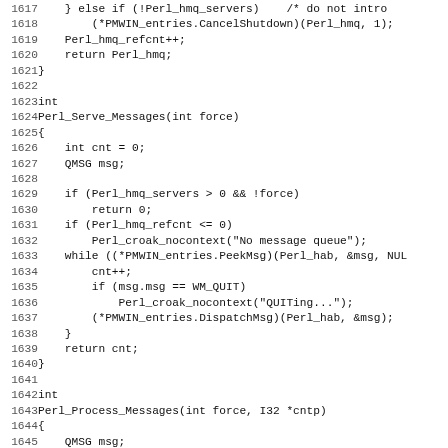Source code listing, lines 1617-1649, C programming language code for Perl message handling functions including Perl_Serve_Messages and Perl_Process_Messages